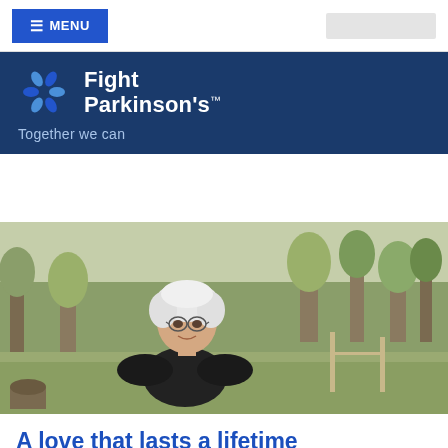≡ MENU
[Figure (logo): Fight Parkinson's logo with pinwheel icon and text 'Fight Parkinson's™ Together we can' on dark blue banner]
[Figure (photo): Elderly woman with white hair and glasses wearing a black top, smiling outdoors in a bushland/grassland setting with eucalyptus trees in background]
A love that lasts a lifetime